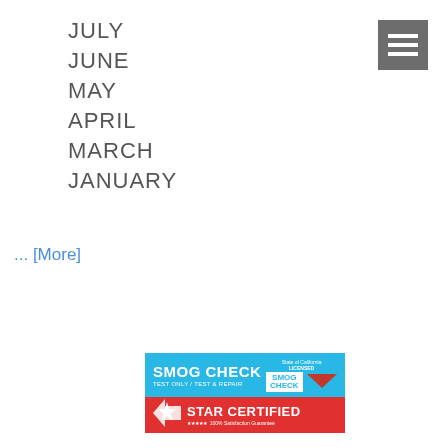[Figure (other): Hamburger menu icon — three white horizontal bars on a grey square background]
JULY
JUNE
MAY
APRIL
MARCH
JANUARY
... [More]
[Figure (logo): Smog Check banner: blue top section with SMOG CHECK / TEST ONLY / TEST & REPAIR text and State of California Licensed Smog Check logo with red chevron; red bottom section with STAR CERTIFIED, five stars, and 100% Satisfaction Guarantee]